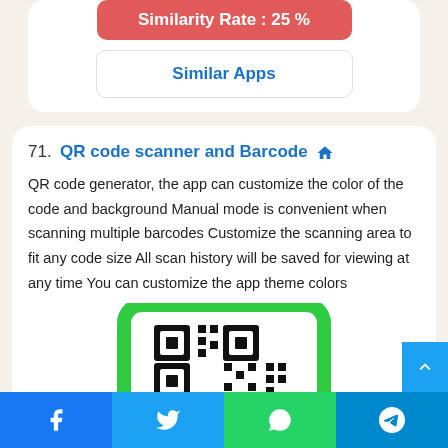[Figure (screenshot): Similarity Rate button showing 25% in red/salmon color]
Similar Apps
71. QR code scanner and Barcode
QR code generator, the app can customize the color of the code and background Manual mode is convenient when scanning multiple barcodes Customize the scanning area to fit any code size All scan history will be saved for viewing at any time You can customize the app theme colors
[Figure (screenshot): QR code scanner app icon showing a QR code with green rounded corners frame]
[Figure (screenshot): Bottom navigation bar with Facebook, Twitter, WhatsApp, and Telegram icons]